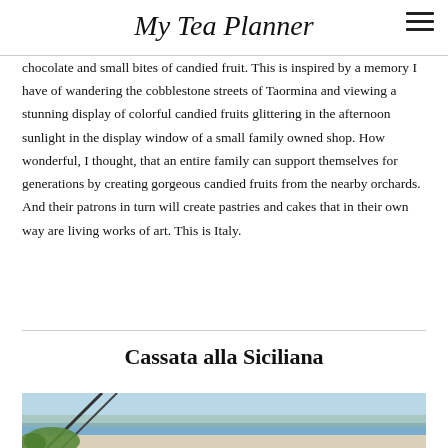My Tea Planner
chocolate and small bites of candied fruit. This is inspired by a memory I have of wandering the cobblestone streets of Taormina and viewing a stunning display of colorful candied fruits glittering in the afternoon sunlight in the display window of a small family owned shop. How wonderful, I thought, that an entire family can support themselves for generations by creating gorgeous candied fruits from the nearby orchards. And their patrons in turn will create pastries and cakes that in their own way are living works of art. This is Italy.
Cassata alla Siciliana
[Figure (photo): Partial photo of a scenic coastal view, likely Sicily, with greenery in foreground and water/sky in background]